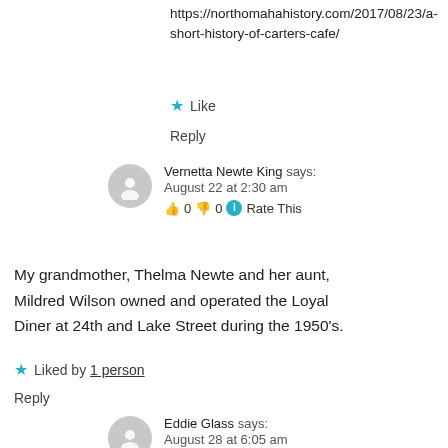https://northomahahistory.com/2017/08/23/a-short-history-of-carters-cafe/
★ Like
Reply
Vernetta Newte King says: August 22 at 2:30 am 👍 0 👎 0 ℹ Rate This
My grandmother, Thelma Newte and her aunt, Mildred Wilson owned and operated the Loyal Diner at 24th and Lake Street during the 1950's.
★ Liked by 1 person
Reply
Eddie Glass says: August 28 at 6:05 am